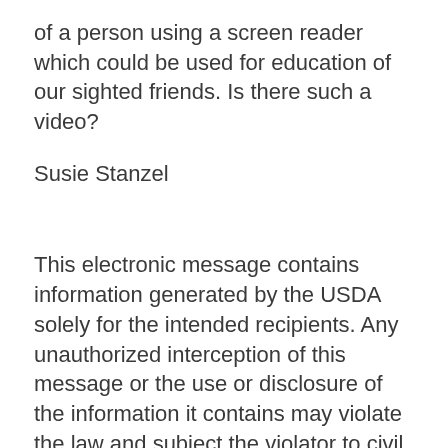of a person using a screen reader which could be used for education of our sighted friends. Is there such a video?
Susie Stanzel
This electronic message contains information generated by the USDA solely for the intended recipients. Any unauthorized interception of this message or the use or disclosure of the information it contains may violate the law and subject the violator to civil or criminal penalties. If you believe you have received this message in error, please notify the sender and delete the